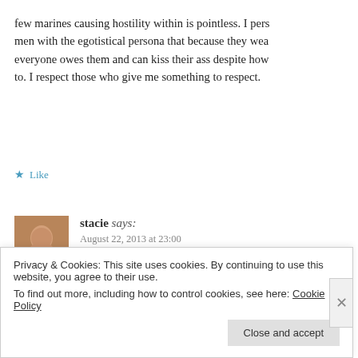few marines causing hostility within is pointless. I pers men with the egotistical persona that because they wea everyone owes them and can kiss their ass despite how to. I respect those who give me something to respect.
★ Like
stacie says:
August 22, 2013 at 23:00
Sorry about the typos it's kind of late lol
★ Like
Privacy & Cookies: This site uses cookies. By continuing to use this website, you agree to their use.
To find out more, including how to control cookies, see here: Cookie Policy
Close and accept